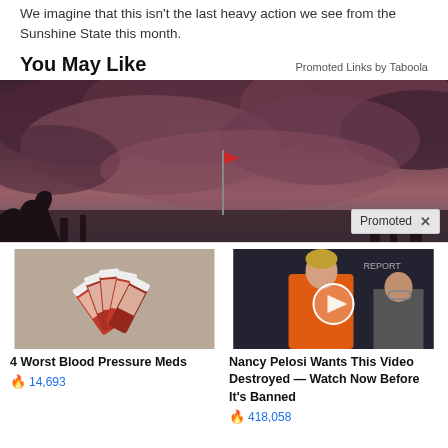We imagine that this isn't the last heavy action we see from the Sunshine State this month.
You May Like
Promoted Links by Taboola
[Figure (photo): Storm clouds with a flag in the distance; 'Promoted X' badge in lower right]
[Figure (photo): Pill bottles arranged in a fan]
4 Worst Blood Pressure Meds
🔥 14,693
[Figure (photo): Nancy Pelosi at a press conference, video play button overlay]
Nancy Pelosi Wants This Video Destroyed — Watch Now Before It's Banned
🔥 418,058